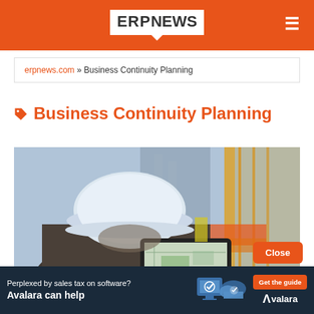ERP NEWS
erpnews.com » Business Continuity Planning
Business Continuity Planning
[Figure (photo): Construction worker wearing white hard hat viewed from behind, holding a tablet computer, with a blurred construction site in the background featuring scaffolding and orange safety barriers.]
Close
Perplexed by sales tax on software? Avalara can help  Get the guide  Avalara